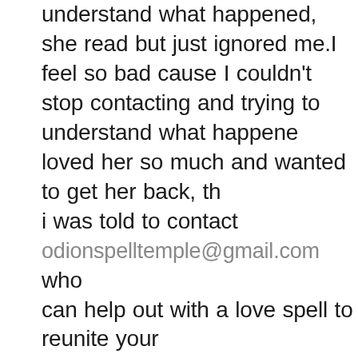understand what happened, she read but just ignored me.I feel so bad cause I couldn't stop contacting and trying to understand what happened, loved her so much and wanted to get her back, th i was told to contact odionspelltemple@gmail.com who can help out with a love spell to reunite your relationship back, so instantly do contact him and give him a try and trust me he did an urgent effective love spell for me and with in 48hours promise he made to me, my woman was back, too i testify to you all that you should seek and contact Dr Odion for his spell result is genuine sure and guarantee unite and get your ex back save your marriage/relationship problem now, Email him now on.. odionspelltemple@gmail.com